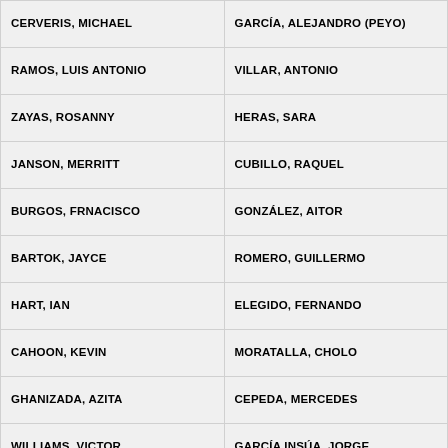| CERVERIS, MICHAEL | GARCÍA, ALEJANDRO (PEYO) |
| RAMOS, LUIS ANTONIO | VILLAR, ANTONIO |
| ZAYAS, ROSANNY | HERAS, SARA |
| JANSON, MERRITT | CUBILLO, RAQUEL |
| BURGOS, FRNACISCO | GONZÁLEZ, AITOR |
| BARTOK, JAYCE | ROMERO, GUILLERMO |
| HART, IAN | ELEGIDO, FERNANDO |
| CAHOON, KEVIN | MORATALLA, CHOLO |
| GHANIZADA, AZITA | CEPEDA, MERCEDES |
| WILLIAMS, VICTOR | GARCÍA INSÚA, JORGE |
| ST. LOUIS, CARRIE | SÁNCHEZ, ROSA |
| McCLYDE, NEDRA | GALLEGO, INMA |
| SCOTT, TOM EVERETT | GARCÍA VÁZQUEZ, DAVID |